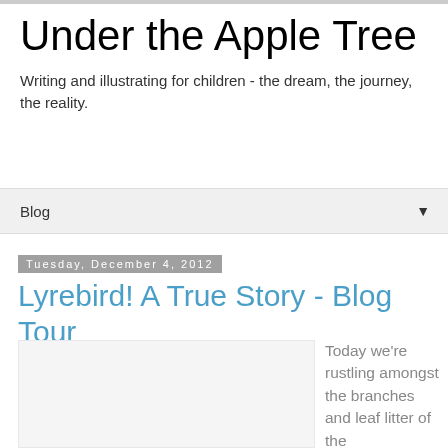Under the Apple Tree
Writing and illustrating for children - the dream, the journey, the reality.
Blog
Tuesday, December 4, 2012
Lyrebird! A True Story - Blog Tour
[Figure (photo): Image placeholder area (blank/white image area)]
Today we're rustling amongst the branches and leaf litter of the